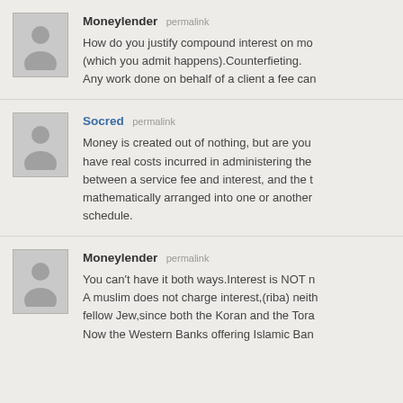Moneylender permalink
How do you justify compound interest on mo... (which you admit happens).Counterfieting. Any work done on behalf of a client a fee can...
Socred permalink
Money is created out of nothing, but are you... have real costs incurred in administering the... between a service fee and interest, and the t... mathematically arranged into one or another... schedule.
Moneylender permalink
You can't have it both ways.Interest is NOT n... A muslim does not charge interest,(riba) neith... fellow Jew,since both the Koran and the Tora... Now the Western Banks offering Islamic Ban...